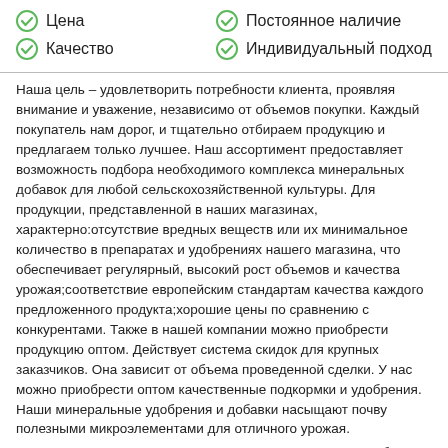✓ Цена
✓ Постоянное наличие
✓ Качество
✓ Индивидуальный подход
Наша цель – удовлетворить потребности клиента, проявляя внимание и уважение, независимо от объемов покупки. Каждый покупатель нам дорог, и тщательно отбираем продукцию и предлагаем только лучшее. Наш ассортимент предоставляет возможность подбора необходимого комплекса минеральных добавок для любой сельскохозяйственной культуры. Для продукции, представленной в наших магазинах, характерно:отсутствие вредных веществ или их минимальное количество в препаратах и удобрениях нашего магазина, что обеспечивает регулярный, высокий рост объемов и качества урожая;соответствие европейским стандартам качества каждого предложенного продукта;хорошие цены по сравнению с конкурентами. Также в нашей компании можно приобрести продукцию оптом. Действует система скидок для крупных заказчиков. Она зависит от объема проведенной сделки. У нас можно приобрести оптом качественные подкормки и удобрения. Наши минеральные удобрения и добавки насыщают почву полезными микроэлементами для отличного урожая.
1) аммиачная селитра купить в минске - Минеральные удобрения купить в Минске можно самовывозом в течении 20 минут, либо с оперативной доставкой.
2) минеральные удобрения купить Минск - Мы предлагаем вам…